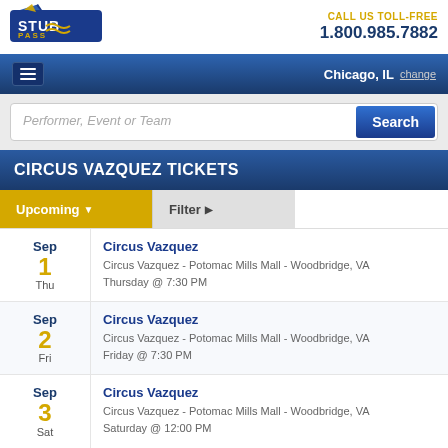[Figure (logo): StubPass logo with shark fin and blue/yellow text]
CALL US TOLL-FREE
1.800.985.7882
Chicago, IL  change
Performer, Event or Team
CIRCUS VAZQUEZ TICKETS
Upcoming ▼   Filter ▶
Sep 1 Thu | Circus Vazquez
Circus Vazquez - Potomac Mills Mall - Woodbridge, VA
Thursday @ 7:30 PM
Sep 2 Fri | Circus Vazquez
Circus Vazquez - Potomac Mills Mall - Woodbridge, VA
Friday @ 7:30 PM
Sep 3 Sat | Circus Vazquez
Circus Vazquez - Potomac Mills Mall - Woodbridge, VA
Saturday @ 12:00 PM
Sep | Circus Vazquez